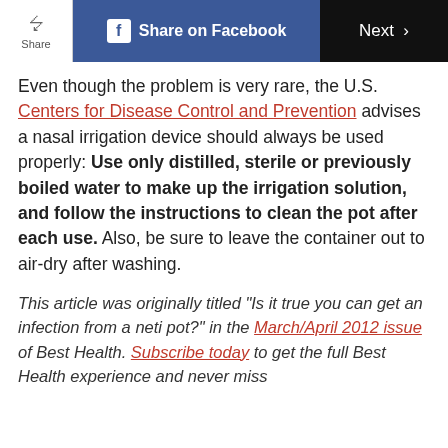Share | Share on Facebook | Next >
Even though the problem is very rare, the U.S. Centers for Disease Control and Prevention advises a nasal irrigation device should always be used properly: Use only distilled, sterile or previously boiled water to make up the irrigation solution, and follow the instructions to clean the pot after each use. Also, be sure to leave the container out to air-dry after washing.
This article was originally titled "Is it true you can get an infection from a neti pot?" in the March/April 2012 issue of Best Health. Subscribe today to get the full Best Health experience and never miss